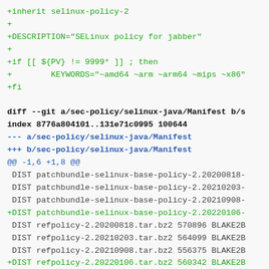+inherit selinux-policy-2
+
+DESCRIPTION="SELinux policy for jabber"
+
+if [[ ${PV} != 9999* ]] ; then
+        KEYWORDS="~amd64 ~arm ~arm64 ~mips ~x86"
+fi
diff --git a/sec-policy/selinux-java/Manifest b/s
index 8776a804101..131e71c0995 100644
--- a/sec-policy/selinux-java/Manifest
+++ b/sec-policy/selinux-java/Manifest
@@ -1,6 +1,8 @@
 DIST patchbundle-selinux-base-policy-2.20200818-
 DIST patchbundle-selinux-base-policy-2.20210203-
 DIST patchbundle-selinux-base-policy-2.20210908-
+DIST patchbundle-selinux-base-policy-2.20220106-
 DIST refpolicy-2.20200818.tar.bz2 570896 BLAKE2B
 DIST refpolicy-2.20210203.tar.bz2 564099 BLAKE2B
 DIST refpolicy-2.20210908.tar.bz2 556375 BLAKE2B
+DIST refpolicy-2.20220106.tar.bz2 560342 BLAKE2B